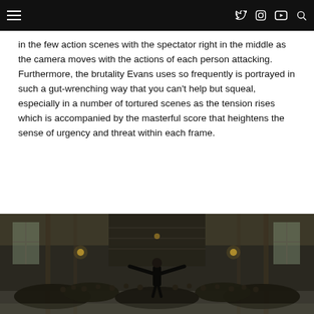Navigation bar with hamburger menu and social icons (Twitter, Instagram, YouTube, Search)
in the few action scenes with the spectator right in the middle as the camera moves with the actions of each person attacking. Furthermore, the brutality Evans uses so frequently is portrayed in such a gut-wrenching way that you can't help but squeal, especially in a number of tortured scenes as the tension rises which is accompanied by the masterful score that heightens the sense of urgency and threat within each frame.
[Figure (photo): A dark, moody interior scene of a large barn or hall filled with a crowd of people facing a single figure standing at the front with arms outstretched, with dim lantern lighting and wooden beam architecture.]